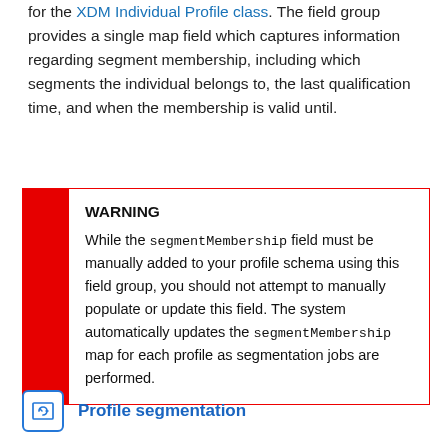for the XDM Individual Profile class. The field group provides a single map field which captures information regarding segment membership, including which segments the individual belongs to, the last qualification time, and when the membership is valid until.
WARNING
While the segmentMembership field must be manually added to your profile schema using this field group, you should not attempt to manually populate or update this field. The system automatically updates the segmentMembership map for each profile as segmentation jobs are performed.
Profile segmentation